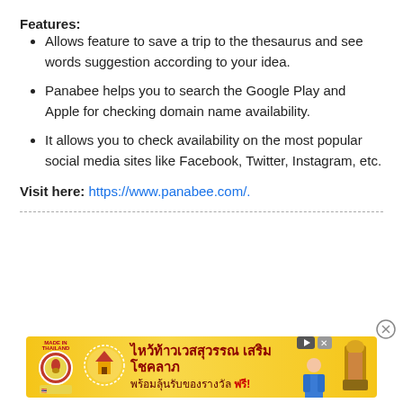Features:
Allows feature to save a trip to the thesaurus and see words suggestion according to your idea.
Panabee helps you to search the Google Play and Apple for checking domain name availability.
It allows you to check availability on the most popular social media sites like Facebook, Twitter, Instagram, etc.
Visit here: https://www.panabee.com/.
[Figure (other): Thai advertisement banner with Thai text, logo, and decorative images on yellow background]